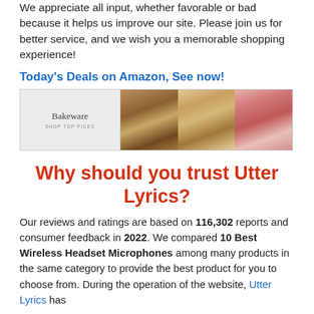We appreciate all input, whether favorable or bad because it helps us improve our site. Please join us for better service, and we wish you a memorable shopping experience!
Today's Deals on Amazon, See now!
[Figure (photo): Amazon Bakeware advertisement banner showing cookies, macarons, and ice cream on baking sheets]
Why should you trust Utter Lyrics?
Our reviews and ratings are based on 116,302 reports and consumer feedback in 2022. We compared 10 Best Wireless Headset Microphones among many products in the same category to provide the best product for you to choose from. During the operation of the website, Utter Lyrics has